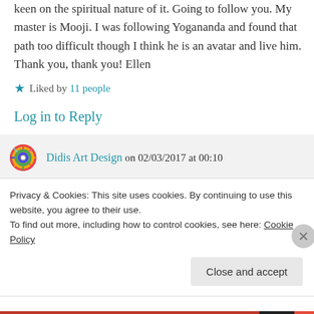keen on the spiritual nature of it. Going to follow you. My master is Mooji. I was following Yogananda and found that path too difficult though I think he is an avatar and live him. Thank you, thank you! Ellen
★ Liked by 11 people
Log in to Reply
Didis Art Design on 02/03/2017 at 00:10
Privacy & Cookies: This site uses cookies. By continuing to use this website, you agree to their use.
To find out more, including how to control cookies, see here: Cookie Policy
Close and accept